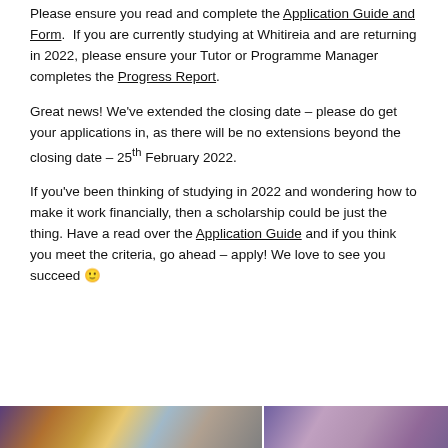Please ensure you read and complete the Application Guide and Form. If you are currently studying at Whitireia and are returning in 2022, please ensure your Tutor or Programme Manager completes the Progress Report.
Great news! We've extended the closing date – please do get your applications in, as there will be no extensions beyond the closing date – 25th February 2022.
If you've been thinking of studying in 2022 and wondering how to make it work financially, then a scholarship could be just the thing. Have a read over the Application Guide and if you think you meet the criteria, go ahead – apply! We love to see you succeed 🙂
[Figure (photo): Two group photo images at the bottom of the page — left showing multiple people in colourful attire, right showing a group of people posing together.]